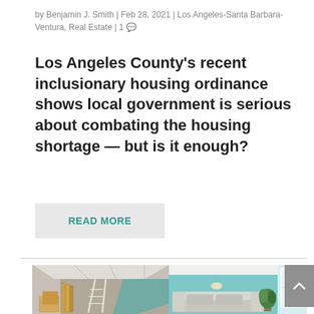by Benjamin J. Smith | Feb 28, 2021 | Los Angeles-Santa Barbara-Ventura, Real Estate | 1 💬
Los Angeles County's recent inclusionary housing ordinance shows local government is serious about combating the housing shortage — but is it enough?
READ MORE
[Figure (photo): Split interior scene: left side shows an unfinished/moving room with cardboard boxes, wooden boards, and a ladder against gray walls; right side shows a finished living room with a gray sofa, green plant, and teal/light blue walls with natural window light.]